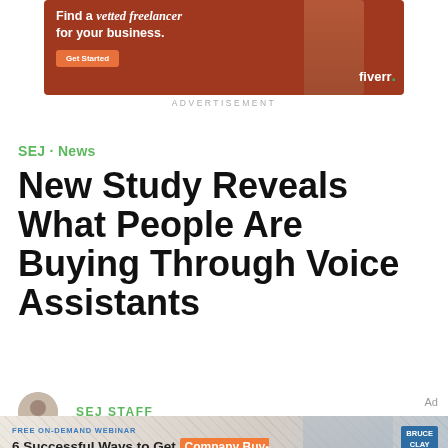[Figure (photo): Fiverr advertisement banner with orange/brown background showing a woman and 'Find a vetted freelancer for your business' text with Get Started button]
ADVERTISEMENT
SEJ · News
New Study Reveals What People Are Buying Through Voice Assistants
SEJ STAFF
[Figure (photo): Bruce Clay webinar advertisement: FREE ON-DEMAND WEBINAR - 6 Successful Ways to Get Company Buy-In for SEO. Get the buy-in you need to achieve better results. CLICK TO WATCH THE WEBINAR]